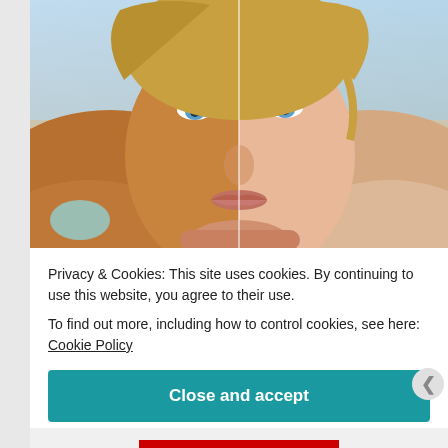[Figure (photo): Split-image photo of a woman's face showing two skin tones — left side tanned/darker skin, right side lighter/fairer skin. The woman has blue eyes and blonde hair, resting her chin on her hands against a light blue background.]
Privacy & Cookies: This site uses cookies. By continuing to use this website, you agree to their use.
To find out more, including how to control cookies, see here: Cookie Policy
Close and accept